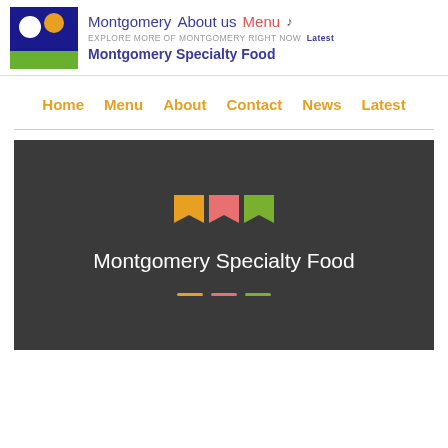Montgomery  About us  Menu ♪  EXPLORE MORE OF MONTGOMERY RIGHT NOW  Latest  Montgomery Specialty Food
Home  Menu  About  Contact  News  Latest
[Figure (screenshot): Dark hero banner with three flag bookmark icons (orange, pink, green) and text 'Montgomery Specialty Food' in white, with three colored dash lines below]